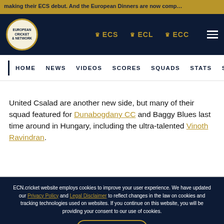European Cricket Network navigation bar with ECS, ECL, ECC links
United Csalad are another new side, but many of their squad featured for Dunabogdany CC and Baggy Blues last time around in Hungary, including the ultra-talented Vinoth Ravindran.
ECN.cricket website employs cookies to improve your user experience. We have updated our Privacy Policy and Legal Disclaimer to reflect changes in the law on cookies and tracking technologies used on websites. If you continue on this website, you will be providing your consent to our use of cookies.